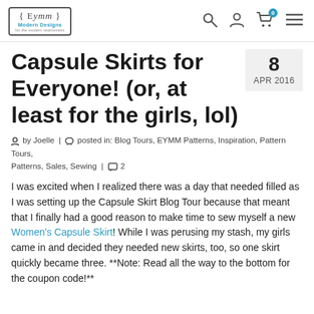EYMM Modern Designs — navigation header with logo, search, user, cart, and menu icons
Capsule Skirts for Everyone! (or, at least for the girls, lol)
8 APR 2016
by Joelle | posted in: Blog Tours, EYMM Patterns, Inspiration, Pattern Tours, Patterns, Sales, Sewing | 2
I was excited when I realized there was a day that needed filled as I was setting up the Capsule Skirt Blog Tour because that meant that I finally had a good reason to make time to sew myself a new Women's Capsule Skirt! While I was perusing my stash, my girls came in and decided they needed new skirts, too, so one skirt quickly became three. **Note: Read all the way to the bottom for the coupon code!**